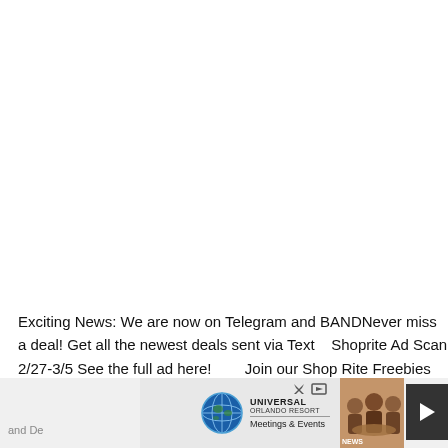Exciting News: We are now on Telegram and BANDNever miss a deal! Get all the newest deals sent via Text   Shoprite Ad Scan 2/27-3/5 See the full ad here!         Join our Shop Rite Freebies and De
[Figure (illustration): Universal Orlando Resort Meetings & Events advertisement banner with globe logo, a photo of people dining/meeting, and a play button on the right side. Top right shows close (X) and skip (arrow) buttons.]